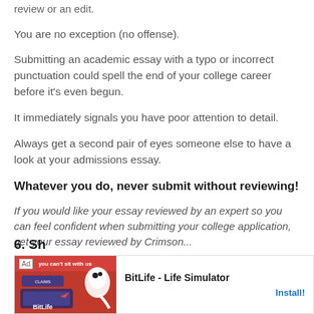review or an edit.
You are no exception (no offense).
Submitting an academic essay with a typo or incorrect punctuation could spell the end of your college career before it’s even begun.
It immediately signals you have poor attention to detail.
Always get a second pair of eyes someone else to have a look at your admissions essay.
Whatever you do, never submit without reviewing!
If you would like your essay reviewed by an expert so you can feel confident when submitting your college application, get your essay reviewed by Crimson...
[Figure (screenshot): Advertisement banner for BitLife - Life Simulator app with red background image on left and Install button on right]
6. Sh...